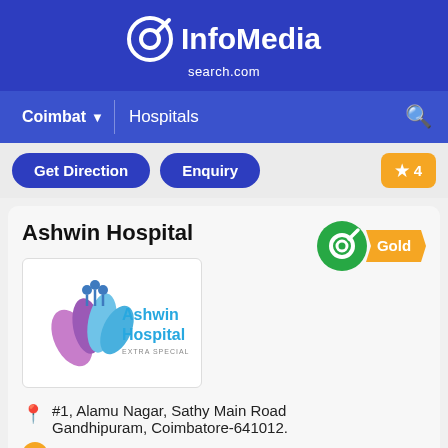[Figure (logo): InfoMedia search.com logo with search icon in white on blue background]
Coimbat ▼   Hospitals
Get Direction   Enquiry   ★ 4
Ashwin Hospital
[Figure (logo): Ashwin Hospital logo with lotus/hands icon and text 'Ashwin Hospital EXTRA SPECIAL CARE']
[Figure (logo): InfoMedia Gold badge]
#1, Alamu Nagar, Sathy Main Road Gandhipuram, Coimbatore-641012.
9787730400